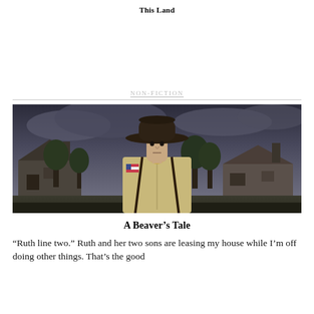This Land
NON-FICTION
[Figure (photo): A man wearing a dark cowboy hat and a tan/khaki uniform shirt with a US flag patch on the sleeve and black suspenders, standing outdoors against a dramatic stormy sky with large houses and trees in the background.]
A Beaver’s Tale
“Ruth line two.” Ruth and her two sons are leasing my house while I’m off doing other things. That’s the good